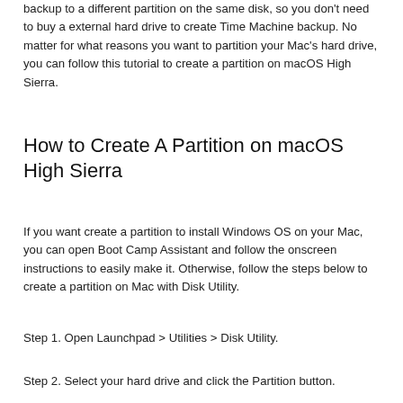backup to a different partition on the same disk, so you don't need to buy a external hard drive to create Time Machine backup. No matter for what reasons you want to partition your Mac's hard drive, you can follow this tutorial to create a partition on macOS High Sierra.
How to Create A Partition on macOS High Sierra
If you want create a partition to install Windows OS on your Mac, you can open Boot Camp Assistant and follow the onscreen instructions to easily make it. Otherwise, follow the steps below to create a partition on Mac with Disk Utility.
Step 1. Open Launchpad > Utilities > Disk Utility.
Step 2. Select your hard drive and click the Partition button.